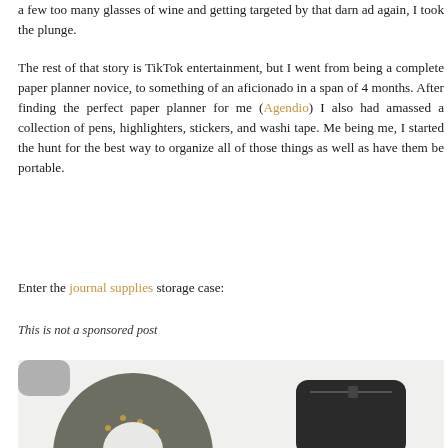a few too many glasses of wine and getting targeted by that darn ad again, I took the plunge.
The rest of that story is TikTok entertainment, but I went from being a complete paper planner novice, to something of an aficionado in a span of 4 months. After finding the perfect paper planner for me (Agendio) I also had amassed a collection of pens, highlighters, stickers, and washi tape. Me being me, I started the hunt for the best way to organize all of those things as well as have them be portable.
Enter the journal supplies storage case:
This is not a sponsored post
[Figure (photo): Photo showing two journal/planner supply storage items on a white background: a dark olive/grey circular pouch with gold dot pattern on the left, and a black zippered case on the right.]